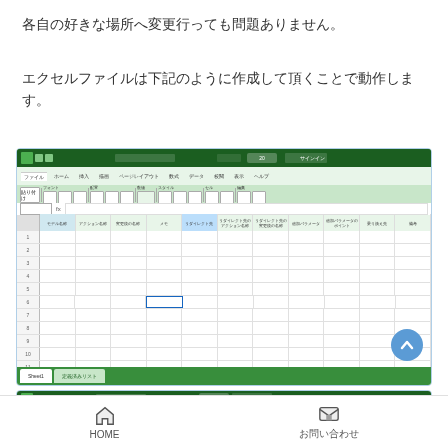各自の好きな場所へ変更行っても問題ありません。
エクセルファイルは下記のように作成して頂くことで動作します。
[Figure (screenshot): Screenshot of Microsoft Excel spreadsheet with green ribbon toolbar and empty spreadsheet grid with column headers in Japanese]
[Figure (screenshot): Partial screenshot of a second Excel window showing green ribbon at top]
HOME　お問い合わせ